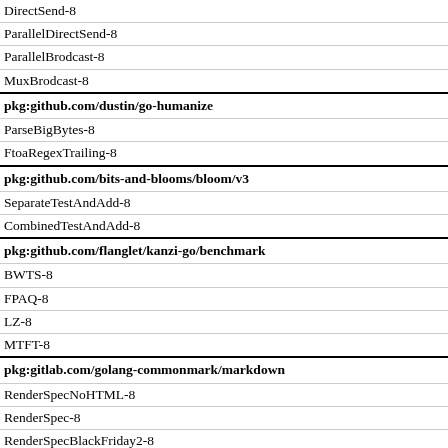| Benchmark | Value |
| --- | --- |
| DirectSend-8 (partial) |  |
| ParallelDirectSend-8 |  |
| ParallelBrodcast-8 |  |
| MuxBrodcast-8 |  |
| pkg:github.com/dustin/go-humanize |  |
| ParseBigBytes-8 |  |
| FtoaRegexTrailing-8 |  |
| pkg:github.com/bits-and-blooms/bloom/v3 |  |
| SeparateTestAndAdd-8 |  |
| CombinedTestAndAdd-8 |  |
| pkg:github.com/flanglet/kanzi-go/benchmark |  |
| BWTS-8 |  |
| FPAQ-8 |  |
| LZ-8 |  |
| MTFT-8 |  |
| pkg:gitlab.com/golang-commonmark/markdown |  |
| RenderSpecNoHTML-8 |  |
| RenderSpec-8 |  |
| RenderSpecBlackFriday2-8 |  |
| pkg:golang.org/x/benchmarks/sweet/benchmarks/biogo-igor |  |
| BiogoIgor | 95.5MB ± 3% |
| pkg:golang.org/x/benchmarks/sweet/benchmarks/biogo-krishna (partial) |  |